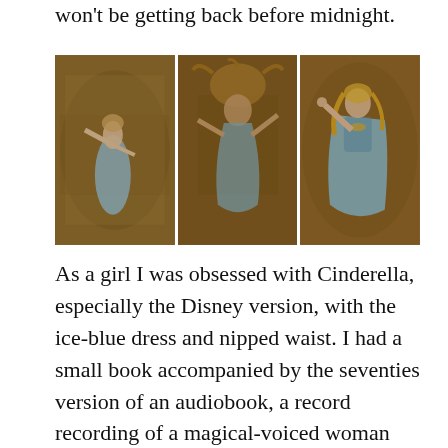won't be getting back before midnight.
[Figure (photo): Three photos side by side showing a Cinderella doll lying in dirt/soil, shown from different angles. The doll wears an ice-blue dress and has blonde hair covered in dirt.]
As a girl I was obsessed with Cinderella, especially the Disney version, with the ice-blue dress and nipped waist. I had a small book accompanied by the seventies version of an audiobook, a record recording of a magical-voiced woman reading the words to the story, interspersed with a cue to turn the pages.